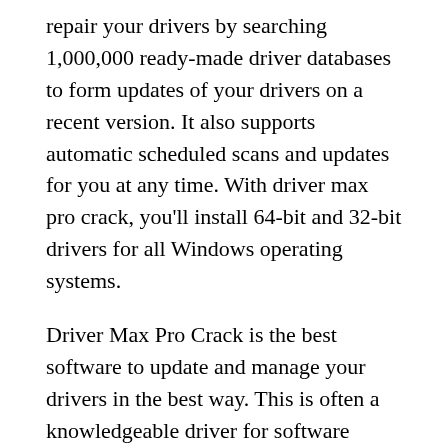repair your drivers by searching 1,000,000 ready-made driver databases to form updates of your drivers on a recent version. It also supports automatic scheduled scans and updates for you at any time. With driver max pro crack, you'll install 64-bit and 32-bit drivers for all Windows operating systems.
Driver Max Pro Crack is the best software to update and manage your drivers in the best way. This is often a knowledgeable driver for software management. You'll configure it on your computer and save all driver points. This program is often elementary to use. With just a couple of clicks, DriverMax Crack will start.